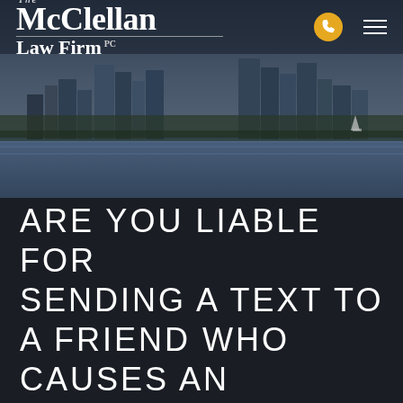[Figure (photo): City skyline of San Diego with waterfront and blue sky, used as banner background for The McClellan Law Firm website header]
The McClellan Law Firm PC
ARE YOU LIABLE FOR SENDING A TEXT TO A FRIEND WHO CAUSES AN